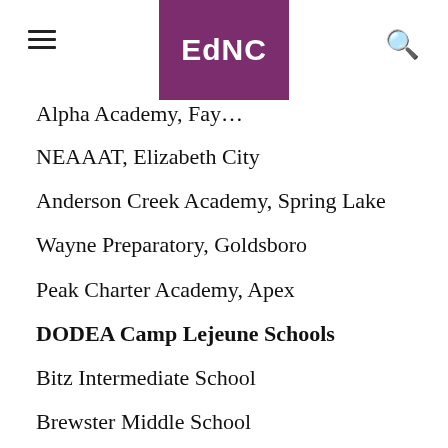EdNC
Alpha Academy, Fay…
NEAAAT, Elizabeth City
Anderson Creek Academy, Spring Lake
Wayne Preparatory, Goldsboro
Peak Charter Academy, Apex
DODEA Camp Lejeune Schools
Bitz Intermediate School
Brewster Middle School
DeLalio Elementary School
Harsee Elementary School